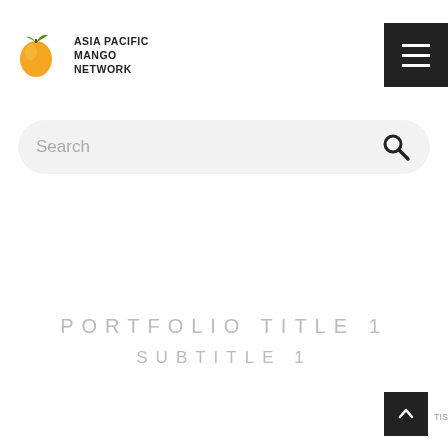[Figure (logo): Asia Pacific Mango Network logo with mango fruit icon and organization name text]
[Figure (other): Dark hamburger menu button with three white horizontal lines on black background]
Search
PORTFOLIO TITLE 1
SUBTITLE 1